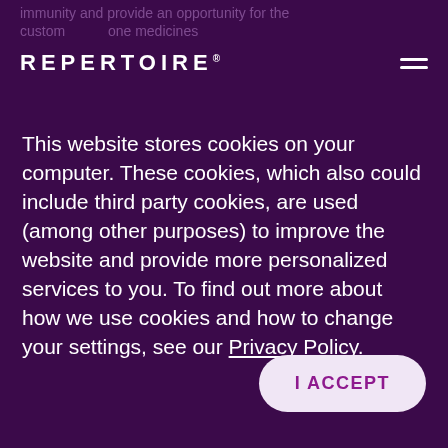REPERTOIRE
immunity and provide an opportunity for the ... one medicines
This website stores cookies on your computer. These cookies, which also could include third party cookies, are used (among other purposes) to improve the website and provide more personalized services to you. To find out more about how we use cookies and how to change your settings, see our Privacy Policy.
I ACCEPT